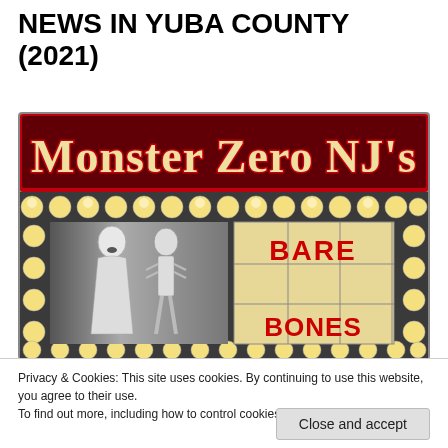NEWS IN YUBA COUNTY (2021)
[Figure (illustration): Monster Zero NJ's Bare Bones movie marquee sign with a horror-themed banner showing a woman screaming next to a skeleton, with theatre lights around the border. Red text reads 'Monster Zero NJ's' at the top and 'Bare Bones' on a yellow tile board.]
Privacy & Cookies: This site uses cookies. By continuing to use this website, you agree to their use.
To find out more, including how to control cookies, see here: Cookie Policy
Close and accept